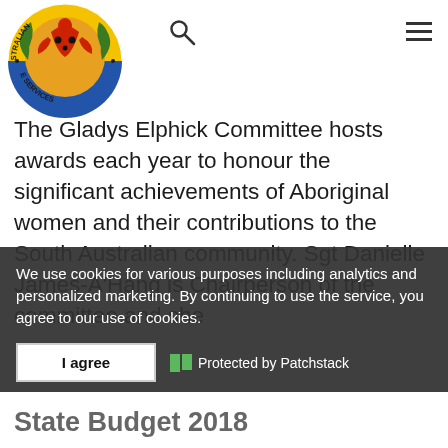[Figure (logo): South Australian Native Title Services circular logo with Aboriginal figure]
The Gladys Elphick Committee hosts awards each year to honour the significant achievements of Aboriginal women and their contributions to the South Australian community. Sgt Danielle James-A'Hang is Chairperson of the committee and she
We use cookies for various purposes including analytics and personalized marketing. By continuing to use the service, you agree to our use of cookies.
I agree   Protected by Patchstack
State Budget 2018